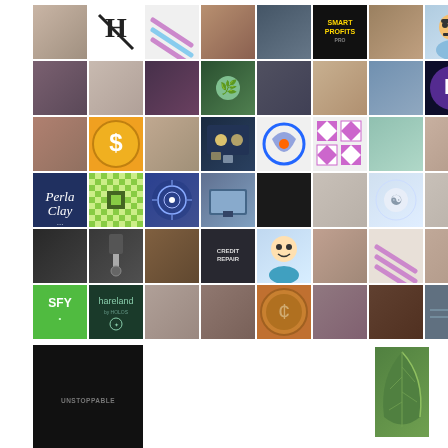[Figure (photo): Grid collage of approximately 50 profile photos, logos, and icons arranged in a 8-column grid layout. Contains people's headshots, brand logos (Smart Profits Pro, SFY, Unstoppable, Perla Clay, Hareland), financial icons (dollar coin, money, credit repair), illustrations, and various graphic elements on white background.]